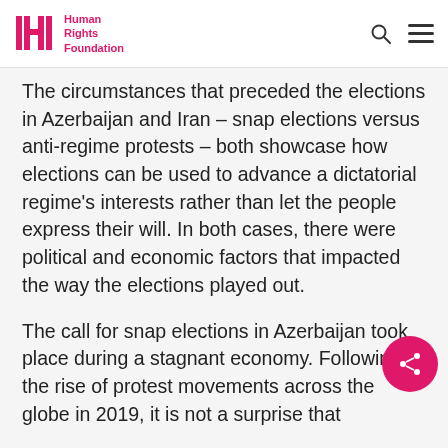Human Rights Foundation
The circumstances that preceded the elections in Azerbaijan and Iran – snap elections versus anti-regime protests – both showcase how elections can be used to advance a dictatorial regime's interests rather than let the people express their will. In both cases, there were political and economic factors that impacted the way the elections played out.
The call for snap elections in Azerbaijan took place during a stagnant economy. Following the rise of protest movements across the globe in 2019, it is not a surprise that